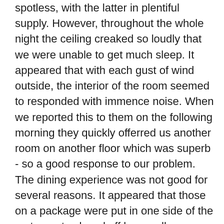spotless, with the latter in plentiful supply. However, throughout the whole night the ceiling creaked so loudly that we were unable to get much sleep. It appeared that with each gust of wind outside, the interior of the room seemed to responded with immence noise. When we reported this to them on the following morning they quickly offerred us another room on another floor which was superb - so a good response to our problem. The dining experience was not good for several reasons. It appeared that those on a package were put in one side of the restaurant , closed off by a wall separating from the main body of the dining room. We could only choose from certain items on the menu which meant that there was very little choice. The standard of food and catering was definitely not 4 star. After having a fish starter, the waitress asked me if I would keep my cutlery and reuse for my main dish of beef!!! I noticed that, when clearing a table after a particularly messing seating (very small kids), the waiter reused cutlery which he perceived to be clean by placing